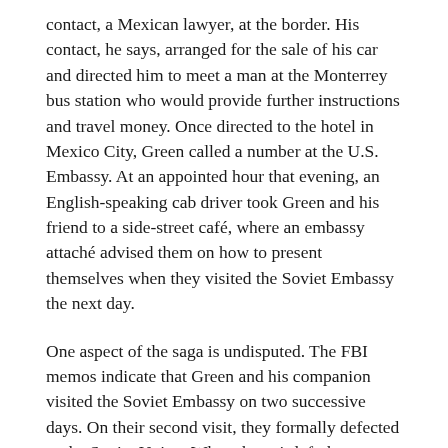contact, a Mexican lawyer, at the border. His contact, he says, arranged for the sale of his car and directed him to meet a man at the Monterrey bus station who would provide further instructions and travel money. Once directed to the hotel in Mexico City, Green called a number at the U.S. Embassy. At an appointed hour that evening, an English-speaking cab driver took Green and his friend to a side-street café, where an embassy attaché advised them on how to present themselves when they visited the Soviet Embassy the next day.
One aspect of the saga is undisputed. The FBI memos indicate that Green and his companion visited the Soviet Embassy on two successive days. On their second visit, they formally defected to the Soviet Union. When the pair left the embassy, they were promptly arrested by the Mexican secret police and jailed. On April 21, 1965, Mexican authorities deported the two young men.
the...